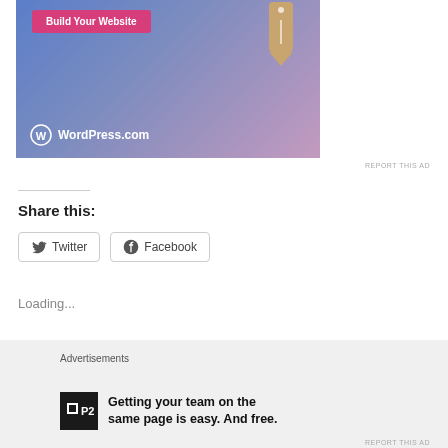[Figure (screenshot): WordPress.com advertisement banner with blue-to-pink gradient background, 'Build Your Website' pink button, price tag illustration, and WordPress.com logo with circle W icon]
REPORT THIS AD
Share this:
Twitter  Facebook
Loading...
[Figure (infographic): Bottom advertisement bar with P2 logo and text: 'Getting your team on the same page is easy. And free.']
Advertisements
Getting your team on the same page is easy. And free.
REPORT THIS AD